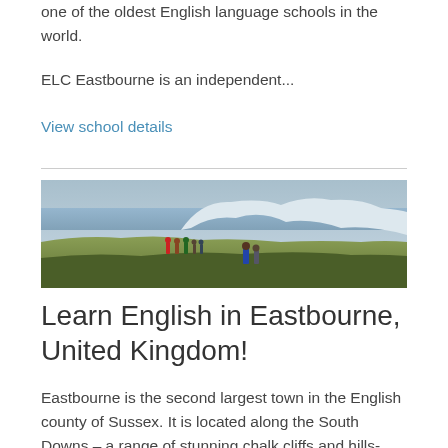one of the oldest English language schools in the world.
ELC Eastbourne is an independent...
View school details
[Figure (photo): Landscape photo showing people walking on green coastal cliffs with white chalk cliffs and the sea in the background, likely the Seven Sisters cliffs near Eastbourne, UK.]
Learn English in Eastbourne, United Kingdom!
Eastbourne is the second largest town in the English county of Sussex. It is located along the South Downs – a range of stunning chalk cliffs and hills-